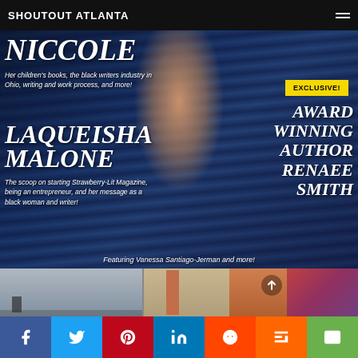SHOUTOUT ATLANTA
[Figure (photo): Magazine cover featuring close-up photo of woman with blue braids. Text overlays include NICCOLE, LAQUEISHA MALONE, AWARD WINNING AUTHOR RENAEE SMITH, EXCLUSIVE! badge, and featuring text.]
NICCOLE
Her children's books, the black writers industry in Ohio, writing and work process, and more!
LAQUEISHA MALONE
The scoop on starting Strawberry-Lit Magazine, being an entrepreneur, and her message as a black woman and writer!
EXCLUSIVE!
AWARD WINNING AUTHOR RENAEE SMITH
Featuring Vanessa Santiago-Jerman and more!
[Figure (photo): Strip of three photos showing interior spaces and colorful crowd]
[Figure (other): Social media share buttons: Facebook, Twitter, Pinterest, LinkedIn, Reddit, Mix, Email]